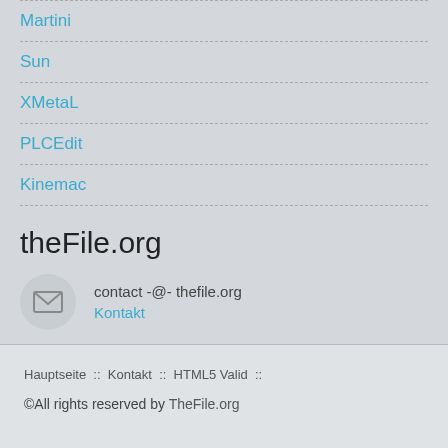Martini
Sun
XMetaL
PLCEdit
Kinemac
theFile.org
contact -@- thefile.org
Kontakt
Hauptseite :: Kontakt :: HTML5 Valid ::
©All rights reserved by TheFile.org